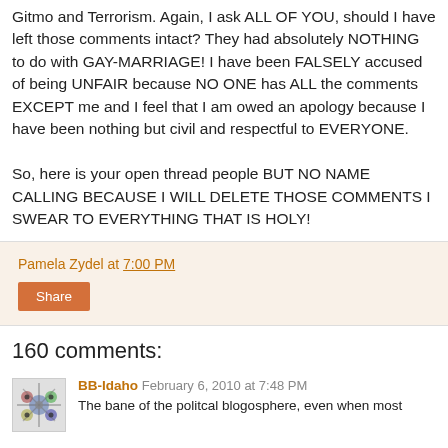Gitmo and Terrorism. Again, I ask ALL OF YOU, should I have left those comments intact? They had absolutely NOTHING to do with GAY-MARRIAGE! I have been FALSELY accused of being UNFAIR because NO ONE has ALL the comments EXCEPT me and I feel that I am owed an apology because I have been nothing but civil and respectful to EVERYONE.

So, here is your open thread people BUT NO NAME CALLING BECAUSE I WILL DELETE THOSE COMMENTS I SWEAR TO EVERYTHING THAT IS HOLY!
Pamela Zydel at 7:00 PM
Share
160 comments:
BB-Idaho February 6, 2010 at 7:48 PM
The bane of the politcal blogosphere, even when most